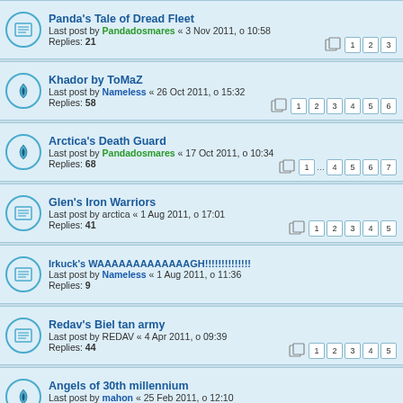Panda's Tale of Dread Fleet — Last post by Pandadosmares « 3 Nov 2011, o 10:58 — Replies: 21 — pages: 1 2 3
Khador by ToMaZ — Last post by Nameless « 26 Oct 2011, o 15:32 — Replies: 58 — pages: 1 2 3 4 5 6
Arctica's Death Guard — Last post by Pandadosmares « 17 Oct 2011, o 10:34 — Replies: 68 — pages: 1 ... 4 5 6 7
Glen's Iron Warriors — Last post by arctica « 1 Aug 2011, o 17:01 — Replies: 41 — pages: 1 2 3 4 5
Irkuck's WAAAAAAAAAAAAAGH!!!!!!!!!!!!!! — Last post by Nameless « 1 Aug 2011, o 11:36 — Replies: 9
Redav's Biel tan army — Last post by REDAV « 4 Apr 2011, o 09:39 — Replies: 44 — pages: 1 2 3 4 5
Angels of 30th millennium — Last post by mahon « 25 Feb 2011, o 12:10 — Replies: 61 — pages: 1 ... 4 5 6 7
Cygnar by ToMaZ — Last post by Marek « 12 Jan 2011, o 11:38 — Replies: 11